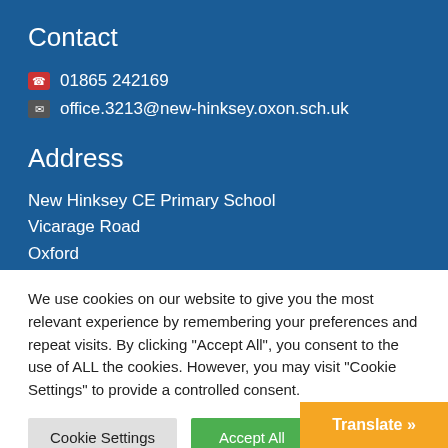Contact
01865 242169
office.3213@new-hinksey.oxon.sch.uk
Address
New Hinksey CE Primary School
Vicarage Road
Oxford
Oxfordshire
We use cookies on our website to give you the most relevant experience by remembering your preferences and repeat visits. By clicking “Accept All”, you consent to the use of ALL the cookies. However, you may visit "Cookie Settings" to provide a controlled consent.
Cookie Settings
Accept All
Translate »